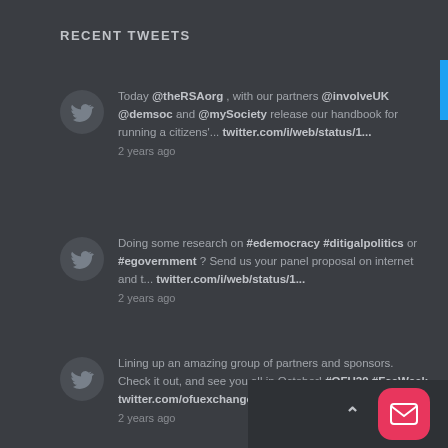RECENT TWEETS
Today @theRSAorg , with our partners @involveUK @demsoc and @mySociety release our handbook for running a citizens'... twitter.com/i/web/status/1... 2 years ago
Doing some research on #edemocracy #ditigalpolitics or #egovernment ? Send us your panel proposal on internet and t... twitter.com/i/web/status/1... 2 years ago
Lining up an amazing group of partners and sponsors. Check it out, and see you all in October! #OFU20 #FacWeek twitter.com/ofuexchange/st... 2 years ago